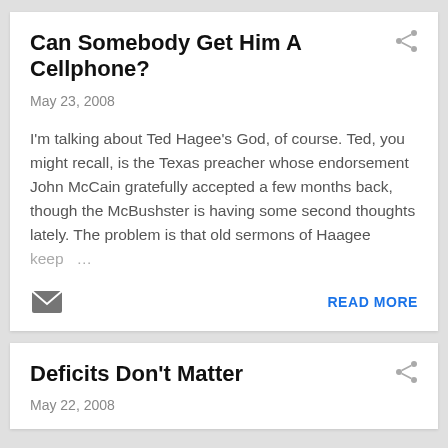Can Somebody Get Him A Cellphone?
May 23, 2008
I'm talking about Ted Hagee's God, of course. Ted, you might recall, is the Texas preacher whose endorsement John McCain gratefully accepted a few months back, though the McBushster is having some second thoughts lately. The problem is that old sermons of Haagee keep …
READ MORE
Deficits Don't Matter
May 22, 2008